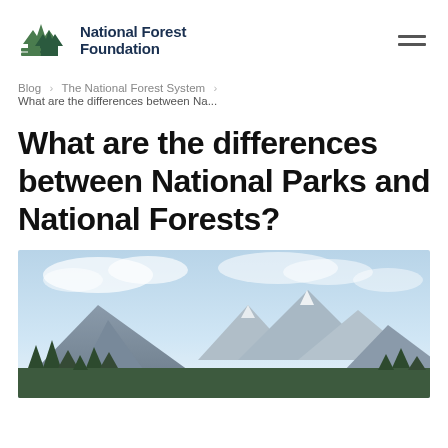National Forest Foundation
Blog > The National Forest System > What are the differences between Na...
What are the differences between National Parks and National Forests?
[Figure (photo): Panoramic mountain landscape with blue sky and clouds, forested hills in foreground, snow-capped peaks in background.]